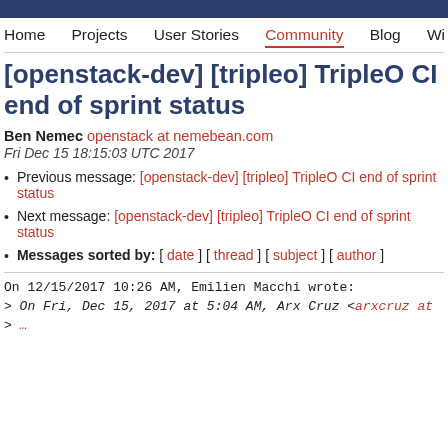Home   Projects   User Stories   Community   Blog   Wiki   Docu…
[openstack-dev] [tripleo] TripleO CI end of sprint status
Ben Nemec openstack at nemebean.com
Fri Dec 15 18:15:03 UTC 2017
Previous message: [openstack-dev] [tripleo] TripleO CI end of sprint status
Next message: [openstack-dev] [tripleo] TripleO CI end of sprint status
Messages sorted by: [ date ] [ thread ] [ subject ] [ author ]
On 12/15/2017 10:26 AM, Emilien Macchi wrote:
> On Fri, Dec 15, 2017 at 5:04 AM, Arx Cruz <arxcruz at